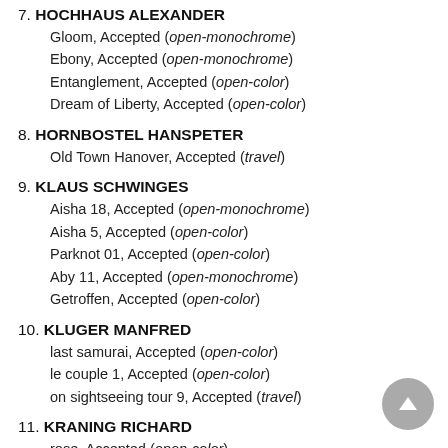7. HOCHHAUS ALEXANDER
Gloom, Accepted (open-monochrome)
Ebony, Accepted (open-monochrome)
Entanglement, Accepted (open-color)
Dream of Liberty, Accepted (open-color)
8. HORNBOSTEL HANSPETER
Old Town Hanover, Accepted (travel)
9. KLAUS SCHWINGES
Aisha 18, Accepted (open-monochrome)
Aisha 5, Accepted (open-color)
Parknot 01, Accepted (open-color)
Aby 11, Accepted (open-monochrome)
Getroffen, Accepted (open-color)
10. KLUGER MANFRED
last samurai, Accepted (open-color)
le couple 1, Accepted (open-color)
on sightseeing tour 9, Accepted (travel)
11. KRANING RICHARD
rose, Accepted (open-color)